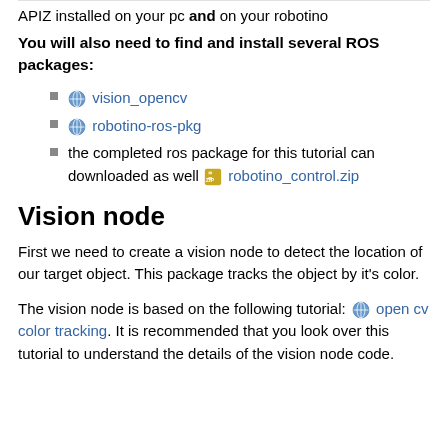APIZ installed on your pc and on your robotino
You will also need to find and install several ROS packages:
vision_opencv
robotino-ros-pkg
the completed ros package for this tutorial can downloaded as well robotino_control.zip
Vision node
First we need to create a vision node to detect the location of our target object. This package tracks the object by it's color.
The vision node is based on the following tutorial: open cv color tracking. It is recommended that you look over this tutorial to understand the details of the vision node code.